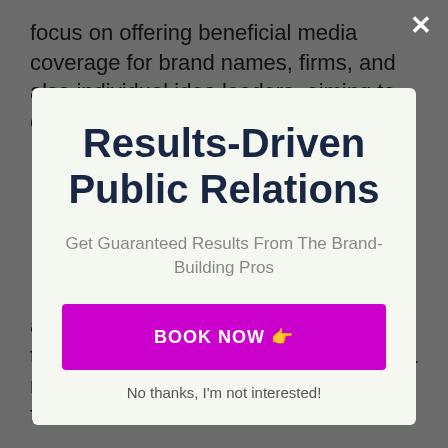focus on offering beneficial media coverage for brand names, firms, and also individual idea leaders, aiming to obtain competitive edge in
also guaranteed placement protection to assist their customers obtain grip in a measurable and also foreseeable fashion.
Results-Driven Public Relations
Get Guaranteed Results From The Brand-Building Pros
BOOK NOW 👉
No thanks, I'm not interested!